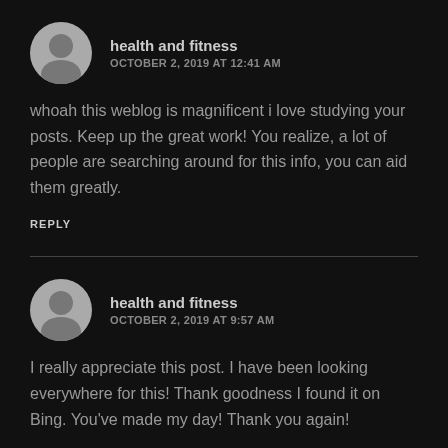health and fitness
OCTOBER 2, 2019 AT 12:41 AM
whoah this weblog is magnificent i love studying your posts. Keep up the great work! You realize, a lot of people are searching around for this info, you can aid them greatly.
REPLY
health and fitness
OCTOBER 2, 2019 AT 9:57 AM
I really appreciate this post. I have been looking everywhere for this! Thank goodness I found it on Bing. You've made my day! Thank you again!
REPLY